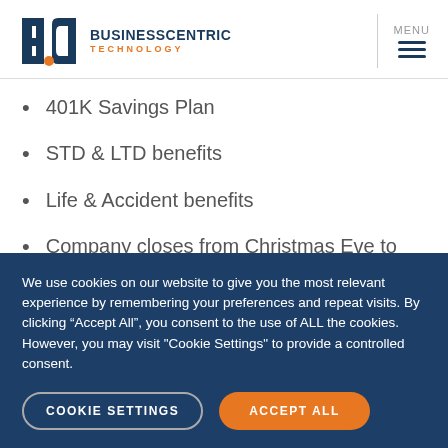BCT Business Centric Technology — MENU
401K Savings Plan
STD & LTD benefits
Life & Accident benefits
Company closes from Christmas Eve to New Year's Day without deducting from your PTO
Company has a successful track record of promoting and growing employees internally!
We use cookies on our website to give you the most relevant experience by remembering your preferences and repeat visits. By clicking “Accept All”, you consent to the use of ALL the cookies. However, you may visit "Cookie Settings" to provide a controlled consent.